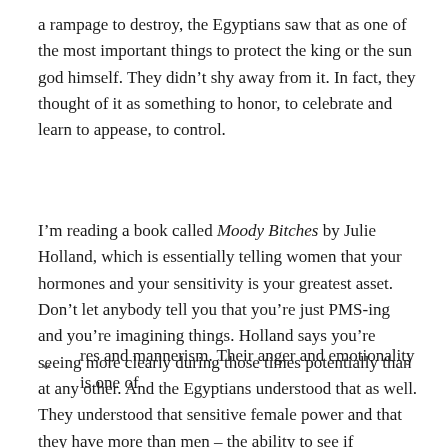a rampage to destroy, the Egyptians saw that as one of the most important things to protect the king or the sun god himself. They didn't shy away from it. In fact, they thought of it as something to honor, to celebrate and learn to appease, to control.
I'm reading a book called Moody Bitches by Julie Holland, which is essentially telling women that your hormones and your sensitivity is your greatest asset. Don't let anybody tell you that you're just PMS-ing and you're imagining things. Holland says you're seeing more clearly during those times potentially than at any other. And the Egyptians understood that as well. They understood that sensitive female power and that they have more than men – the ability to see if someone's going to screw you over, that female intuition, that sensitivity to facial res and mannerism. Their anger and emotionality is one of